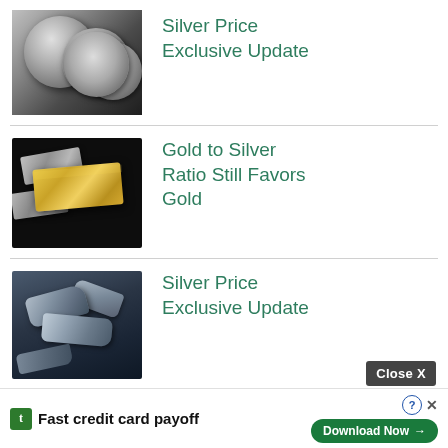[Figure (photo): Silver coins stacked on dark background]
Silver Price Exclusive Update
[Figure (photo): Gold bars and silver bars on black background]
Gold to Silver Ratio Still Favors Gold
[Figure (photo): Raw silver chunks on dark blue background]
Silver Price Exclusive Update
Close X
Fast credit card payoff
Download Now →